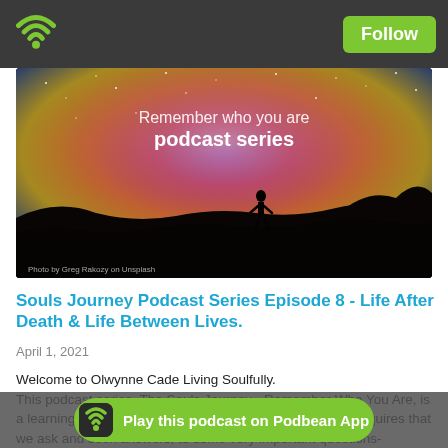Follow
[Figure (photo): Night sky photo with a silhouetted person standing on a hill under a colorful Milky Way galaxy. Text overlay reads 'Remember who you are podcast series'. Caption at bottom: 'Photo by Greg Rakozy on Unsplash']
Souls Journey Podcast Series Episode 8 - Life After Death & Life Between Lives.
April 1, 2021
Welcome to Olwynne Cade Living Soulfully.
This podcast series, The Souls Journey - Remember Who You Are, is a learning path to make the unconscious, conscious and requires that we ask and seek answers, to some very important questions-
Where we...
Who or wh...
Play this podcast on Podbean App